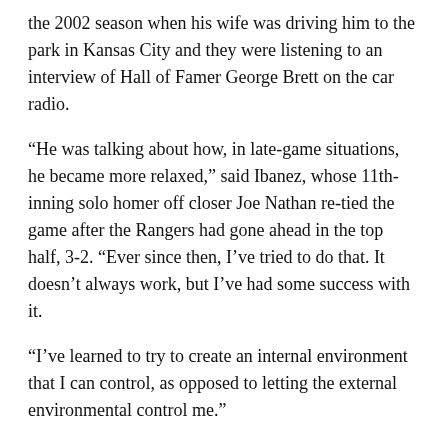the 2002 season when his wife was driving him to the park in Kansas City and they were listening to an interview of Hall of Famer George Brett on the car radio.
“He was talking about how, in late-game situations, he became more relaxed,” said Ibanez, whose 11th-inning solo homer off closer Joe Nathan re-tied the game after the Rangers had gone ahead in the top half, 3-2. “Ever since then, I’ve tried to do that. It doesn’t always work, but I’ve had some success with it.
“I’ve learned to try to create an internal environment that I can control, as opposed to letting the external environmental control me.”
An elegantly simple plan, But according to Ibanez, he didn’t get a grip on it until he was around 30.